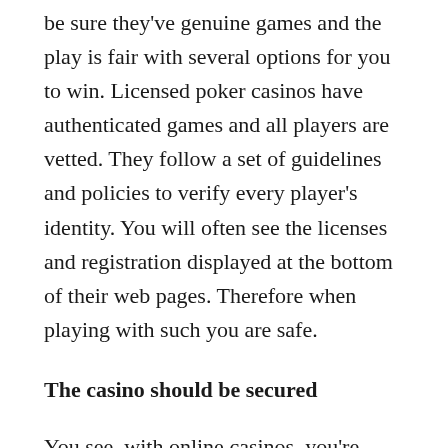be sure they've genuine games and the play is fair with several options for you to win. Licensed poker casinos have authenticated games and all players are vetted. They follow a set of guidelines and policies to verify every player's identity. You will often see the licenses and registration displayed at the bottom of their web pages. Therefore when playing with such you are safe.
The casino should be secured
You see, with online casinos, you're playing with real money and therefore you've to be sure that their systems are watertight- a secure and